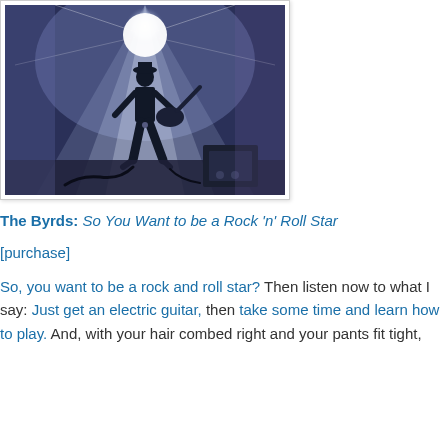[Figure (photo): Silhouette of a guitarist on stage with bright spotlight behind them, stage equipment and cables visible on the floor]
The Byrds: So You Want to be a Rock 'n' Roll Star
[purchase]
So, you want to be a rock and roll star? Then listen now to what I say: Just get an electric guitar, then take some time and learn how to play. And, with your hair combed right and your pants fit tight, it's gonna be all right.